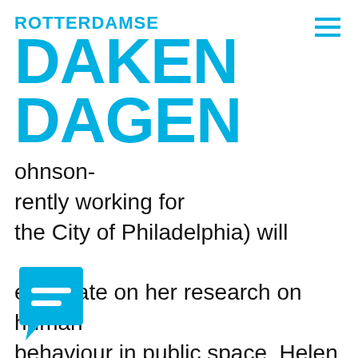ROTTERDAMSE DAKEN DAGEN
ohnson- rently working for the City of Philadelphia) will elaborate on her research on human behaviour in public space, Helen Toxopeus discusses her studies on business models for green cities and futurologist Jacintha Scheerder will advocate the importance of green s for our future.
[Figure (illustration): Cyan speech bubble chat icon with two horizontal lines inside]